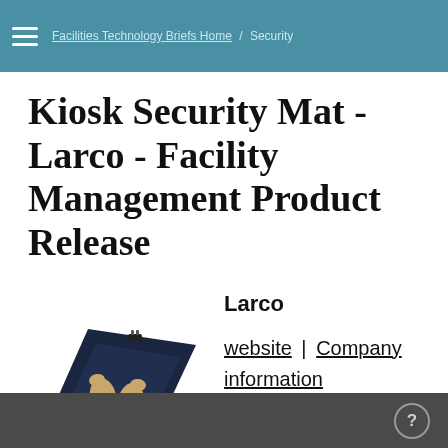Facilities Technology Briefs Home / Security
Kiosk Security Mat - Larco - Facility Management Product Release
[Figure (photo): A kiosk security mat (dark blue/black flat mat with two tan footprint outlines and a small black cable connector at the top edge)]
Larco
website | Company information